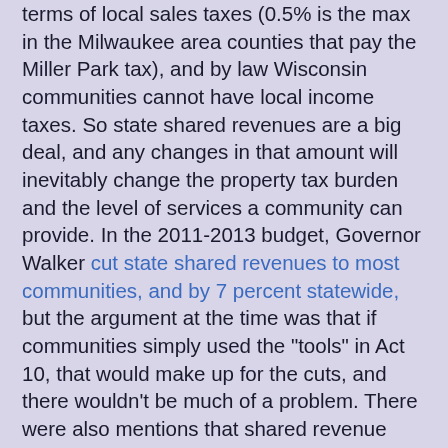terms of local sales taxes (0.5% is the max in the Milwaukee area counties that pay the Miller Park tax), and by law Wisconsin communities cannot have local income taxes. So state shared revenues are a big deal, and any changes in that amount will inevitably change the property tax burden and the level of services a community can provide. In the 2011-2013 budget, Governor Walker cut state shared revenues to most communities, and by 7 percent statewide, but the argument at the time was that if communities simply used the "tools" in Act 10, that would make up for the cuts, and there wouldn't be much of a problem. There were also mentions that shared revenue payments would increase once the tools were in place, because the state and local governments would be on better fiscal footing.
And we now know that argument is a LIE, as the League of Wisconsin Municipalities estimated in April 2011 that Act 10 only covered 3/5 of the cuts to shared revenues, and it was also false because Act 10 exempted police and fire department workers (for political reasons) and later transit workers (after WisGOP realized that it would cost the state tens of millions of dollars in transit aid), while not making up the difference in cost for not being able to negotiate the...